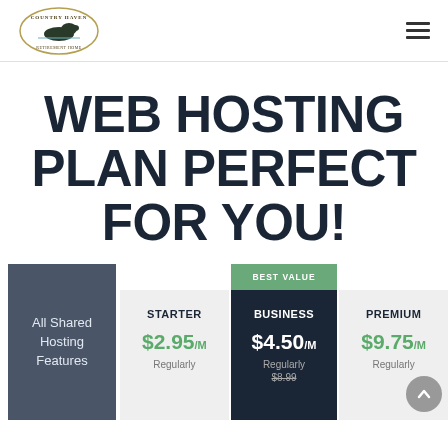Country Haven Retirement Home logo and navigation
WEB HOSTING PLAN PERFECT FOR YOU!
|  | STARTER | BUSINESS | PREMIUM |
| --- | --- | --- | --- |
| All Shared Hosting Features | $2.95/M
Regularly | $4.50/M
Regularly $8.99 | $9.75/M
Regularly |